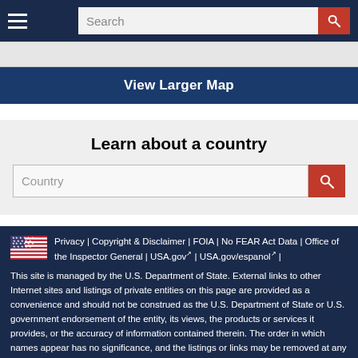Search
View Larger Map
Learn about a country
Country
Privacy | Copyright & Disclaimer | FOIA | No FEAR Act Data | Office of the Inspector General | USA.gov | USA.gov/espanol | This site is managed by the U.S. Department of State. External links to other Internet sites and listings of private entities on this page are provided as a convenience and should not be construed as the U.S. Department of State or U.S. government endorsement of the entity, its views, the products or services it provides, or the accuracy of information contained therein. The order in which names appear has no significance, and the listings or links may be removed at any time at the discretion of the Department.